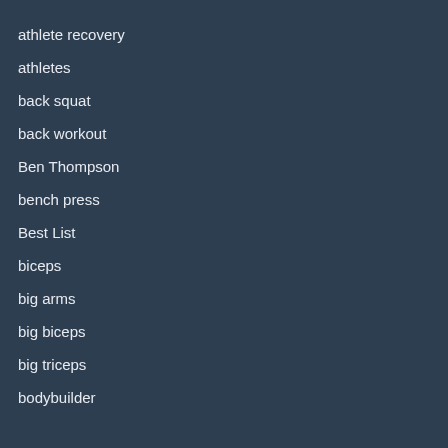athlete recovery
athletes
back squat
back workout
Ben Thompson
bench press
Best List
biceps
big arms
big biceps
big triceps
bodybuilder